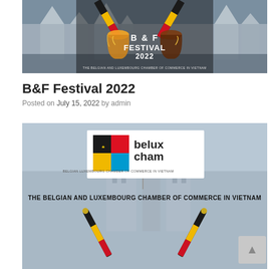[Figure (illustration): B&F Festival 2022 banner image showing crowd at Grand Place Brussels with beer glasses and crossed Belgian flags overlay, text reads B&F FESTIVAL 2022]
B&F Festival 2022
Posted on July 15, 2022 by admin
[Figure (illustration): Belux Cham logo (Belgian and Luxembourg Chamber of Commerce in Vietnam) with crossed Belgian flags below and Grand Place Brussels in background, text reads THE BELGIAN AND LUXEMBOURG CHAMBER OF COMMERCE IN VIETNAM]